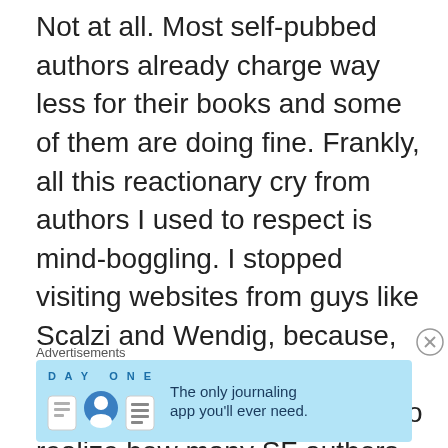Not at all. Most self-pubbed authors already charge way less for their books and some of them are doing fine. Frankly, all this reactionary cry from authors I used to respect is mind-boggling. I stopped visiting websites from guys like Scalzi and Wendig, because, really, they are beginning to sound like luddites (it’s weird to realize how many SF authors can’t handle new ideas regarding tech when these ideas went out of the pages and became a reality). All this anti-Amazon bias has reminded me of the first years of the MP3 revolution. So many established writers blindly defending a dying way of life, like a chorus of whining Metallicas.
Advertisements
[Figure (other): Advertisement banner for Day One journaling app with blue background, app icons, and tagline 'The only journaling app you’ll ever need.']